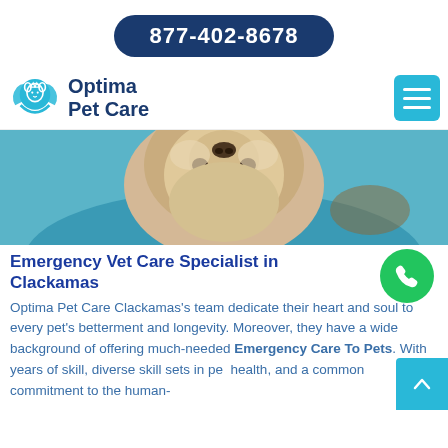877-402-8678
[Figure (logo): Optima Pet Care logo with stylized dog and cat in blue circle with wings/hands, and text 'Optima Pet Care']
[Figure (photo): Close-up photo of a fluffy light-colored dog (possibly Shih Tzu or Lhasa Apso) being held by someone in a teal/blue top]
Emergency Vet Care Specialist in Clackamas
Optima Pet Care Clackamas's team dedicate their heart and soul to every pet's betterment and longevity. Moreover, they have a wide background of offering much-needed Emergency Care To Pets. With years of skill, diverse skill sets in pet health, and a common commitment to the human-